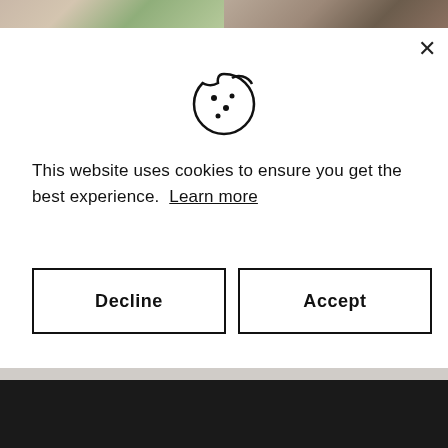[Figure (photo): Two cropped photos side by side at top: left shows flowers/floral arrangement, right shows nuts/seeds on dark background]
This website uses cookies to ensure you get the best experience.  Learn more
Decline
Accept
Help
Contact Us
Chat with us